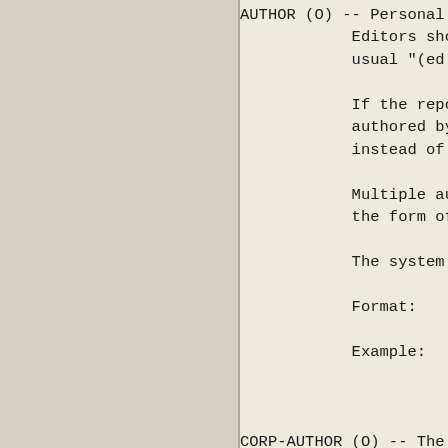AUTHOR (O) -- Personal names only. Editors should be listed h usual "(ed.)" as shown bel

If the report was not auth authored by a committee or instead of AUTHOR.

Multiple authors are enter the form of "AUTHOR:: <fre

The system preserves the o

Format:    AUTHOR:: <free-t

Example:   AUTHOR:: Finnega
           AUTHOR:: Pooh, W
           AUTHOR:: Lastnam

CORP-AUTHOR (O) -- The corporate a panel) that authored the r the ORGANIZATION issuing t

           In entering the corporate